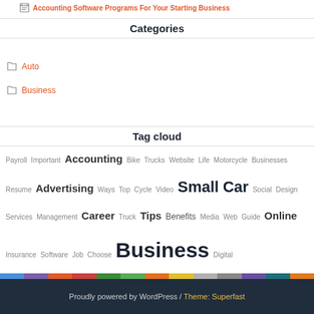Accounting Software Programs For Your Starting Business
Categories
Auto
Business
Tag cloud
Payroll Important Accounting Bike Trucks Website Life Motorcycle Businesses Resume Advertising Ways Top Cycle Video Small Car Social Design Services Management Career Truck Tips Benefits Media Web Guide Online Insurance Software Job Choose Business Digital Marketing Advantages Industry amp Reasons Choosing Auto Importance Company Money
Proudly powered by WordPress / Theme: Superfast